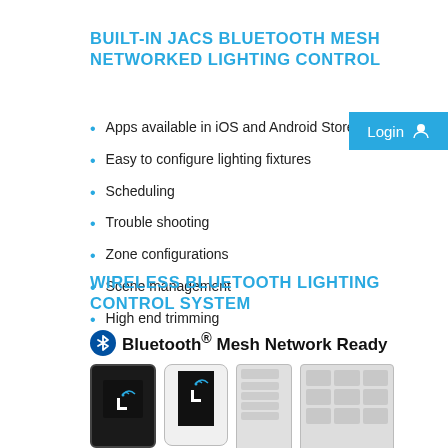BUILT-IN JACS BLUETOOTH MESH NETWORKED LIGHTING CONTROL
Apps available in iOS and Android Stores
Easy to configure lighting fixtures
Scheduling
Trouble shooting
Zone configurations
Scene management
High end trimming
WIRELESS BLUETOOTH LIGHTING CONTROL SYSTEM
[Figure (infographic): Bluetooth Mesh Network Ready heading with Bluetooth logo icon, followed by images of two smartphones with app interface, a small remote control, and a wall panel controller]